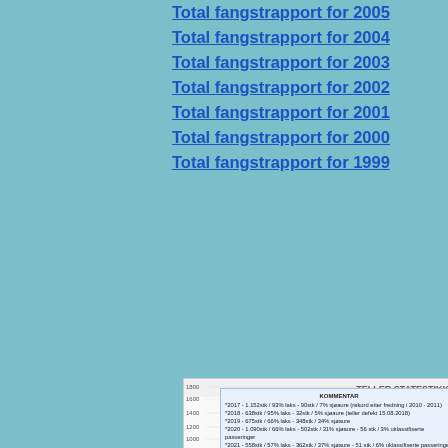Total fangstrapport for 2005
Total fangstrapport for 2004
Total fangstrapport for 2003
Total fangstrapport for 2002
Total fangstrapport for 2001
Total fangstrapport for 2000
Total fangstrapport for 1999
[Figure (line-chart): Teller statistikk chart with y-axis showing values 800, 1000, 1200, 1400, 1600, 1800. Contains a commentary box with fish counter data 2017-2021. A line chart partially visible at bottom.]